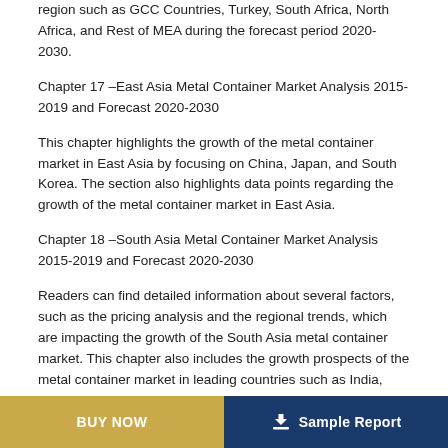region such as GCC Countries, Turkey, South Africa, North Africa, and Rest of MEA during the forecast period 2020-2030.
Chapter 17 –East Asia Metal Container Market Analysis 2015-2019 and Forecast 2020-2030
This chapter highlights the growth of the metal container market in East Asia by focusing on China, Japan, and South Korea. The section also highlights data points regarding the growth of the metal container market in East Asia.
Chapter 18 –South Asia Metal Container Market Analysis 2015-2019 and Forecast 2020-2030
Readers can find detailed information about several factors, such as the pricing analysis and the regional trends, which are impacting the growth of the South Asia metal container market. This chapter also includes the growth prospects of the metal container market in leading countries such as India, Thailand, Indonesia, Malaysia, and Rest of South
BUY NOW   Sample Report